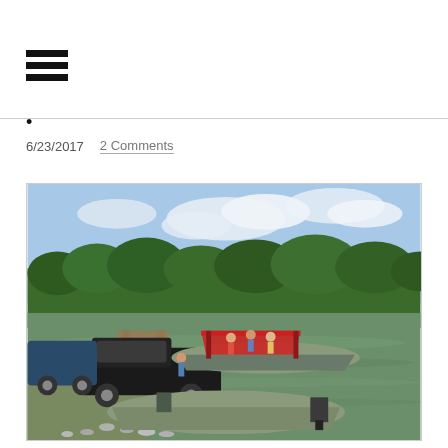[Figure (other): Hamburger menu icon (three horizontal bars)]
·
6/23/2017   2 Comments
[Figure (photo): Outdoor scene at a boat launch. Two boats are on the water — a small aluminum jon boat in the foreground and a larger boat with a red canopy in the background with people on it. A black pickup truck is parked near the boat ramp with a sign/bulletin board visible. Trees line the far shore under a partly cloudy sky. Rocks line the near shore.]